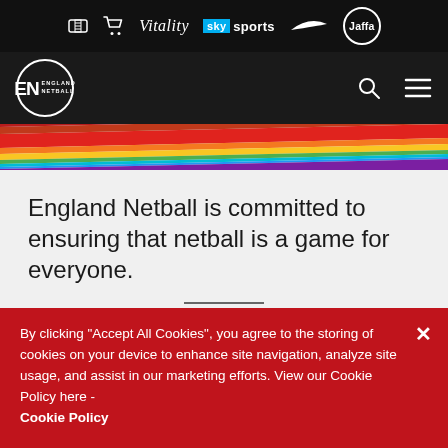[Figure (logo): Sponsor bar with ticket icon, cart icon, Vitality logo, Sky Sports logo, Nike swoosh, Jaffa logo on black background]
[Figure (logo): England Netball navigation bar with circular EN logo, search icon, and hamburger menu on dark background]
[Figure (illustration): Rainbow pride stripe banner with red, orange, yellow, green, cyan, blue, purple diagonal stripes]
England Netball is committed to ensuring that netball is a game for everyone.
Over the next few weeks, we will be joining the Rainbow Laces campaign to celebrate the impact that our sport has on LGBT+ members of the Netball Family, and likewise the
By clicking "Accept All Cookies", you agree to the storing of cookies on your device to enhance site navigation, analyze site usage, and assist in our marketing efforts. View our Cookie Policy here - Cookie Policy